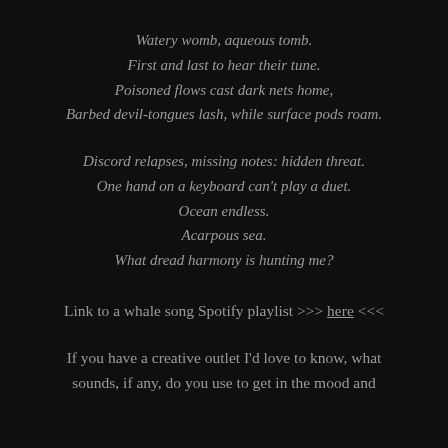Watery womb, aqueous tomb.
First and last to hear their tune.
Poisoned flows cast dark nets home,
Barbed devil-tongues lash, while surface pods roam.
Discord relapses, missing notes: hidden threat.
One hand on a keyboard can't play a duet.
Ocean endless.
Acarpous sea.
What dread harmony is hunting me?
Link to a whale song Spotify playlist >>> here <<<
If you have a creative outlet I'd love to know, what sounds, if any, do you use to get in the mood and